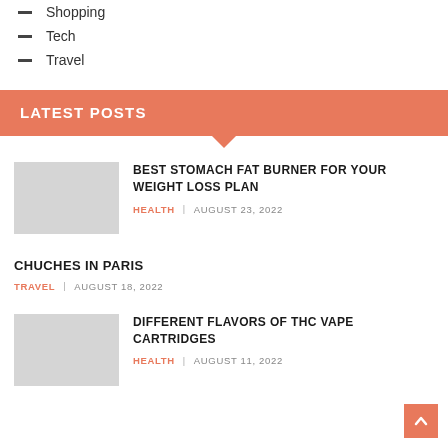Shopping
Tech
Travel
LATEST POSTS
BEST STOMACH FAT BURNER FOR YOUR WEIGHT LOSS PLAN
HEALTH   AUGUST 23, 2022
CHUCHES IN PARIS
TRAVEL   AUGUST 18, 2022
DIFFERENT FLAVORS OF THC VAPE CARTRIDGES
HEALTH   AUGUST 11, 2022